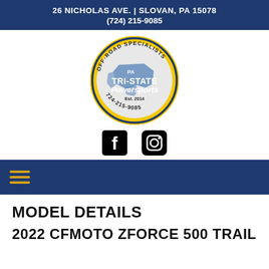26 NICHOLAS AVE. | SLOVAN, PA 15078
(724) 215-9085
[Figure (logo): Tri-State Powersports circular logo with yellow background, blue Pennsylvania state outline, text 'OFF-ROAD SPECIALISTS', 'TRI-STATE Powersports', 'Est. 2014', '724-215-9085']
[Figure (other): Facebook and Instagram social media icons]
[Figure (other): Dark blue navigation bar with hamburger menu icon (three horizontal yellow lines)]
MODEL DETAILS
2022 CFMOTO ZFORCE 500 TRAIL